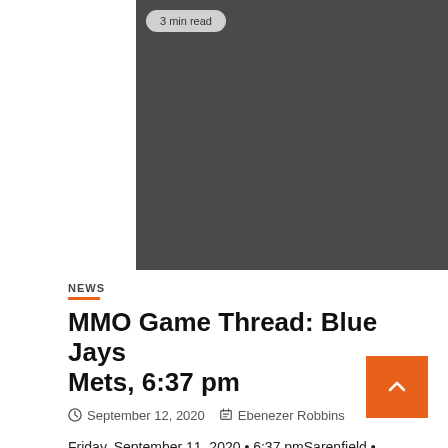[Figure (photo): Dark gray rectangular placeholder image with a '3 min read' badge in the top left corner]
NEWS
MMO Game Thread: Blue Jays Mets, 6:37 pm
September 12, 2020   Ebenezer Robbins
Friday, September 11, 2020 • 6:37 pmSarenfield •